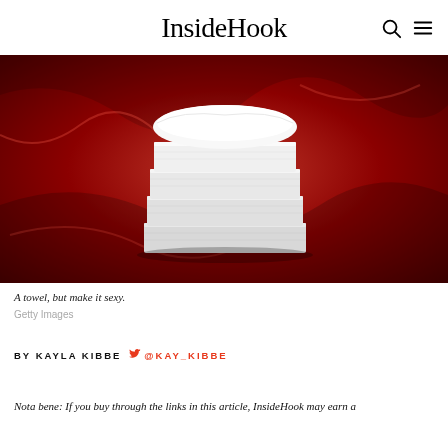InsideHook
[Figure (photo): Stack of white folded towels on a red silk fabric background]
A towel, but make it sexy.
Getty Images
BY KAYLA KIBBE  @KAY_KIBBE
Nota bene: If you buy through the links in this article, InsideHook may earn a